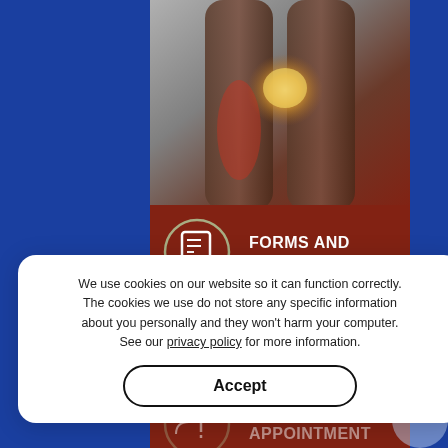[Figure (illustration): Medical website screenshot showing a knee joint X-ray image at the top, a red/dark-red background panel with two menu items: 'FORMS AND DOWNLOAD' and 'YOUR FIRST VISIT GUIDE', each with a circular icon. Below are partially visible 'URGENT APPOINTMENT' and 'CONSULTING LOCATIONS' menu items. Blue side bars frame the content. A cookie consent dialog overlays the bottom portion.]
We use cookies on our website so it can function correctly. The cookies we use do not store any specific information about you personally and they won't harm your computer. See our privacy policy for more information.
Accept